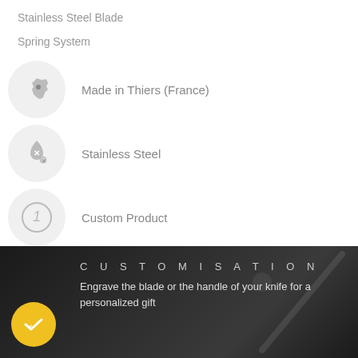Stainless Steel Blade
Spring System
Made in Thiers (France)
Stainless Steel
Custom Product
Olive Wood Handle
CUSTOMISATION
Engrave the blade or the handle of your knife for a personalized gift